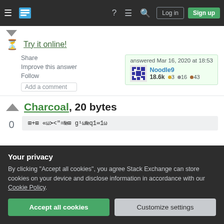Stack Exchange navigation bar with Log in and Sign up buttons
Try it online!
Share | Improve this answer | Follow | Add a comment
answered Mar 16, 2020 at 18:53 — Noodle9 — 18.6k ●3 ●16 ●43
Charcoal, 20 bytes
0
⊞+⊞ «ω≻<"=№⊞ g¹ω№q1≕1ω (code block)
Your privacy
By clicking "Accept all cookies", you agree Stack Exchange can store cookies on your device and disclose information in accordance with our Cookie Policy.
Accept all cookies | Customize settings
Share   answered Mar 16, 2020 at 21:46